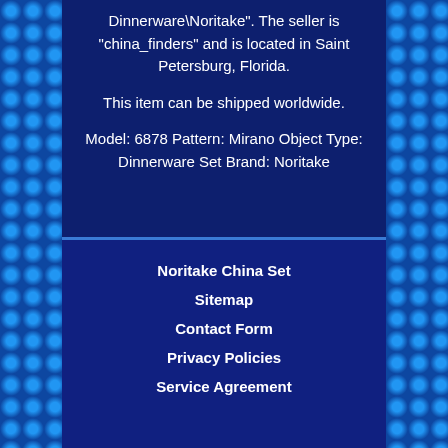Dinnerware\Noritake". The seller is "china_finders" and is located in Saint Petersburg, Florida.
This item can be shipped worldwide.
Model: 6878 Pattern: Mirano Object Type: Dinnerware Set Brand: Noritake
Noritake China Set
Sitemap
Contact Form
Privacy Policies
Service Agreement